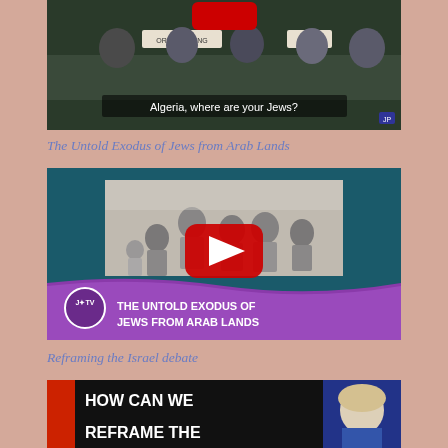[Figure (screenshot): YouTube video thumbnail - Algeria UN meeting scene with text 'Algeria, where are your Jews?' partially visible at top of page]
The Untold Exodus of Jews from Arab Lands
[Figure (screenshot): YouTube video thumbnail for 'The Untold Exodus of Jews from Arab Lands' with J*TV branding, showing black and white photo of people and YouTube play button]
Reframing the Israel debate
[Figure (screenshot): YouTube video thumbnail partially visible at bottom showing 'HOW CAN WE REFRAME THE...' text in white on dark background]